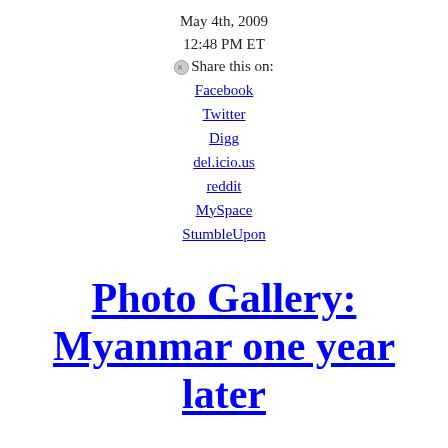May 4th, 2009
12:48 PM ET
⊗Share this on:
Facebook
Twitter
Digg
del.icio.us
reddit
MySpace
StumbleUpon
Photo Gallery: Myanmar one year later